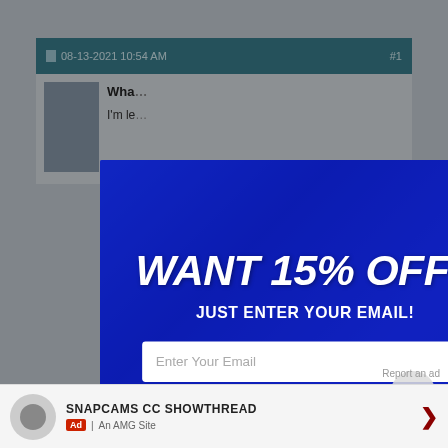08-13-2021 10:54 AM  #1
Wha...  I'm le...
[Figure (screenshot): Modal popup overlay on a forum page with 'WANT 15% OFF? JUST ENTER YOUR EMAIL!' promotional offer, email input field, and SAVE NOW button]
Report an ad
SNAPCAMS CC SHOWTHREAD
Ad | An AMG Site